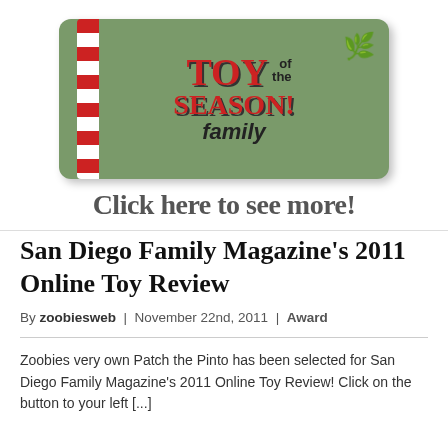[Figure (photo): Image of a tin box labeled 'Toy of the Season! family' with red and white striped left edge and holly decoration, with text below reading 'Click here to see more!']
San Diego Family Magazine's 2011 Online Toy Review
By zoobiesweb | November 22nd, 2011 | Award
Zoobies very own Patch the Pinto has been selected for San Diego Family Magazine's 2011 Online Toy Review! Click on the button to your left [...]